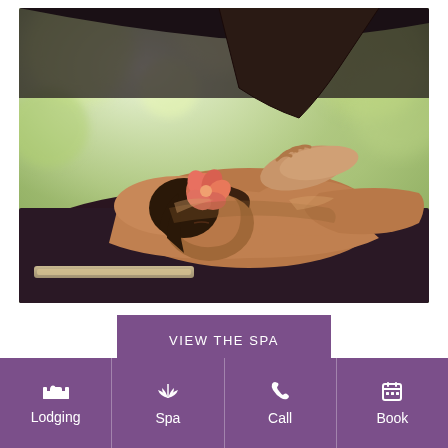[Figure (photo): Woman receiving a spa massage, lying face down on a dark massage table with a pink flower in her hair, a therapist's hands on her back, in an outdoor open-air setting with green bokeh background.]
VIEW THE SPA
Lodging
Spa
Call
Book